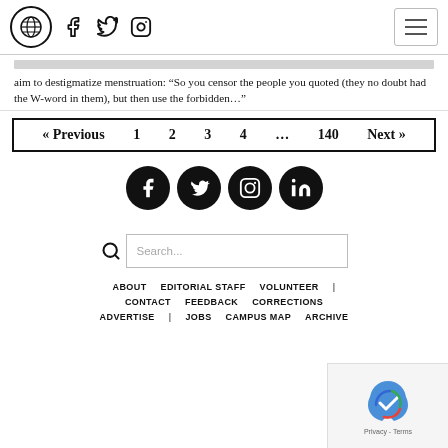Navigation header with logo, Facebook, Twitter, Instagram icons and menu button
aim to destigmatize menstruation: “So you censor the people you quoted (they no doubt had the W-word in them), but then use the forbidden…”
« Previous  1  2  3  4  …  140  Next »
[Figure (other): Four social media icons (Facebook, Twitter, Instagram, LinkedIn) as black circles]
[Figure (other): Search bar with magnifying glass icon and placeholder text 'Search...']
ABOUT  EDITORIAL STAFF  VOLUNTEER  |  CONTACT  FEEDBACK  CORRECTIONS  ADVERTISE  |  JOBS  CAMPUS MAP  ARCHIVE
[Figure (other): reCAPTCHA Privacy - Terms badge in bottom right corner]